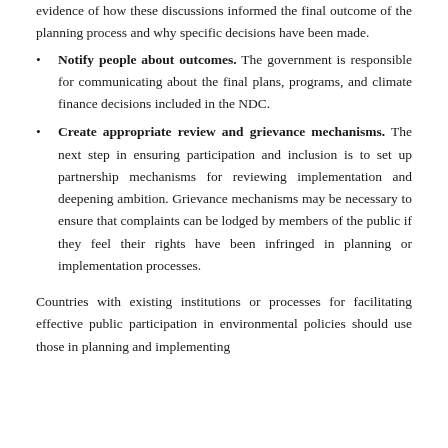evidence of how these discussions informed the final outcome of the planning process and why specific decisions have been made.
Notify people about outcomes. The government is responsible for communicating about the final plans, programs, and climate finance decisions included in the NDC.
Create appropriate review and grievance mechanisms. The next step in ensuring participation and inclusion is to set up partnership mechanisms for reviewing implementation and deepening ambition. Grievance mechanisms may be necessary to ensure that complaints can be lodged by members of the public if they feel their rights have been infringed in planning or implementation processes.
Countries with existing institutions or processes for facilitating effective public participation in environmental policies should use those in planning and implementing